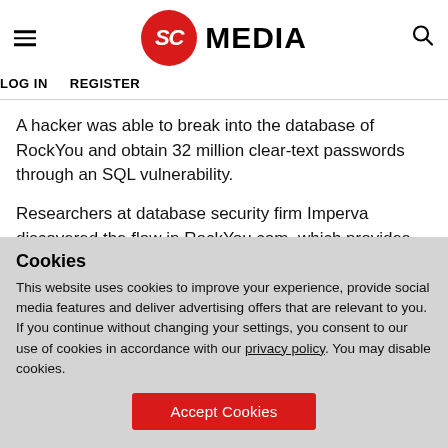SC MEDIA | LOG IN  REGISTER
A hacker was able to break into the database of RockYou and obtain 32 million clear-text passwords through an SQL vulnerability.
Researchers at database security firm Imperva discovered the flaw in RockYou.com, which provides applications and services for social networking sites like Facebook and MySpace, using a specific database query to access...
Cookies
This website uses cookies to improve your experience, provide social media features and deliver advertising offers that are relevant to you. If you continue without changing your settings, you consent to our use of cookies in accordance with our privacy policy. You may disable cookies.